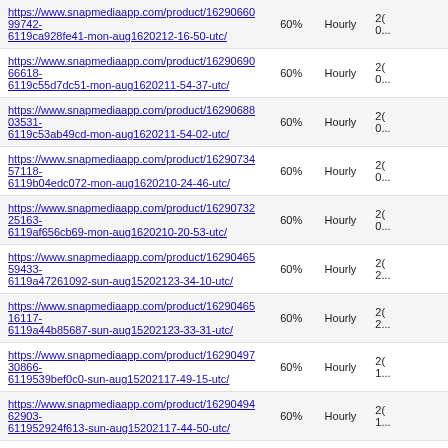| URL | Rate | Frequency | Date |
| --- | --- | --- | --- |
| https://www.snapmediaapp.com/product/1629066099742-6119ca928fe41-mon-aug1620212-16-50-utc/ | 60% | Hourly | 2...0... |
| https://www.snapmediaapp.com/product/1629069066618-6119c55d7dc51-mon-aug1620211-54-37-utc/ | 60% | Hourly | 2...0... |
| https://www.snapmediaapp.com/product/1629068803531-6119c53ab49cd-mon-aug1620211-54-02-utc/ | 60% | Hourly | 2...0... |
| https://www.snapmediaapp.com/product/1629073457118-6119b04edc072-mon-aug1620210-24-46-utc/ | 60% | Hourly | 2...0... |
| https://www.snapmediaapp.com/product/1629073225163-6119af656cb69-mon-aug1620210-20-53-utc/ | 60% | Hourly | 2...0... |
| https://www.snapmediaapp.com/product/1629046559433-6119a47261092-sun-aug15202123-34-10-utc/ | 60% | Hourly | 2...2... |
| https://www.snapmediaapp.com/product/1629046516117-6119a44b85687-sun-aug15202123-33-31-utc/ | 60% | Hourly | 2...2... |
| https://www.snapmediaapp.com/product/1629049730866-6119539bef0c0-sun-aug15202117-49-15-utc/ | 60% | Hourly | 2...1... |
| https://www.snapmediaapp.com/product/1629049462903-611952924f613-sun-aug15202117-44-50-utc/ | 60% | Hourly | 2...1... |
| https://www.snapmediaapp.com/product/1629043109567-61193d69cbb65-sun-aug15202116-14-33-utc/ | 60% | Hourly | 2...1... |
| https://www.snapmediaapp.com/product/1629042699089-611938cfcedb8-sun-aug15202115-54-55-utc/ | 60% | Hourly | 2...1... |
| https://www.snapmediaapp.com/product/1629031472384-611910fce1fb0-sun-aug15202113-05-00-utc/ | 60% | Hourly | 2...1... |